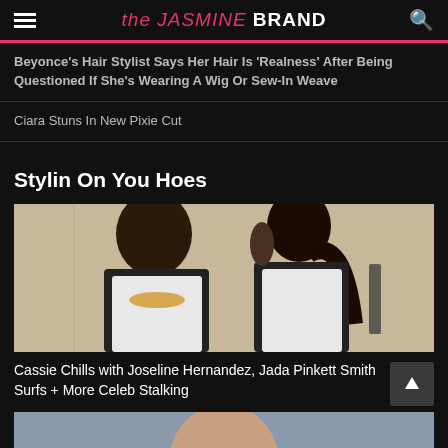the JASMINE BRAND
Beyonce's Hair Stylist Says Her Hair Is 'Realness' After Being Questioned If She's Wearing A Wig Or Sew-In Weave
Ciara Stuns In New Pixie Cut
Stylin On You Hoes
[Figure (photo): Two women posing together: one with a short dark bob haircut, the other with a long dark ponytail. Both wearing white tops.]
Cassie Chills with Joseline Hernandez, Jada Pinkett Smith Surfs + More Celeb Stalking
[Figure (photo): Partial view of a person, cropped at bottom of page.]